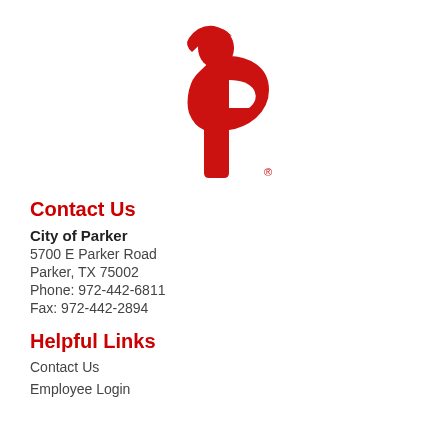[Figure (logo): City of Parker red logo — a stylized letter P with a person's silhouette profile facing left, with a registered trademark symbol]
Contact Us
City of Parker
5700 E Parker Road
Parker, TX 75002
Phone: 972-442-6811
Fax: 972-442-2894
Helpful Links
Contact Us
Employee Login